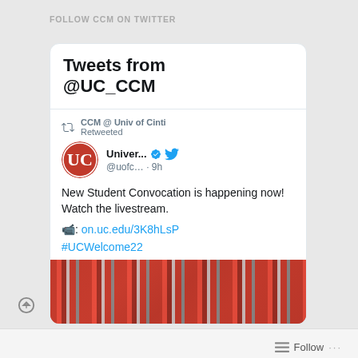FOLLOW CCM ON TWITTER
Tweets from @UC_CCM
CCM @ Univ of Cinti Retweeted
Univer... @uofc... · 9h
New Student Convocation is happening now! Watch the livestream.

📹: on.uc.edu/3K8hLsP

#UCWelcome22
[Figure (photo): Crowd of people in red and gray clothing at a university convocation event]
Follow